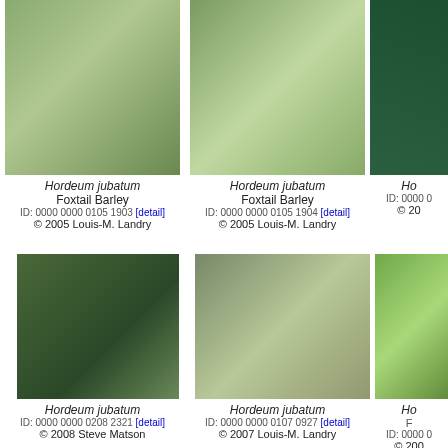[Figure (photo): Close-up of Hordeum jubatum grass spikes, green radiating bristles]
Hordeum jubatum
Foxtail Barley
ID: 0000 0000 0105 1903 [detail]
© 2005 Louis-M. Landry
[Figure (photo): Field of Hordeum jubatum foxtail barley, feathery green plumes blowing in wind]
Hordeum jubatum
Foxtail Barley
ID: 0000 0000 0105 1904 [detail]
© 2005 Louis-M. Landry
[Figure (photo): Partial view of dark green plant (cropped right edge)]
Ho
ID: 0000 0
© 20
[Figure (photo): Hordeum jubatum specimen on dark blue background showing spreading awns]
Hordeum jubatum
ID: 0000 0000 0208 2321 [detail]
© 2008 Steve Matson
[Figure (photo): Single Hordeum jubatum spike close-up with feathery awns against green background]
Hordeum jubatum
ID: 0000 0000 0107 0927 [detail]
© 2007 Louis-M. Landry
[Figure (photo): Blurry close-up of green Hordeum jubatum grass (cropped right edge)]
Ho

ID: 0000 0
© 200
[Figure (photo): Golden/tan grass close-up, bottom strip]
[Figure (photo): Blue sky with mountain landscape, bottom strip]
[Figure (photo): Green grass, bottom strip (cropped)]